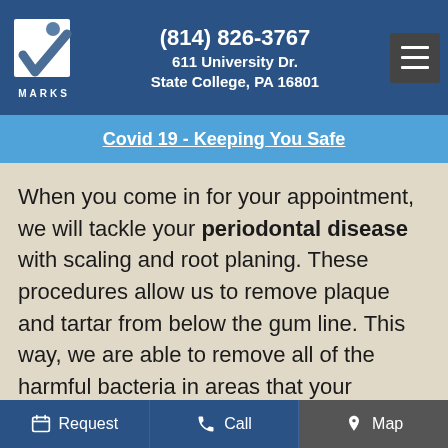(814) 826-3767
611 University Dr.
State College, PA 16801
Covid 19 - Keeping You Safe
When you come in for your appointment, we will tackle your periodontal disease with scaling and root planing. These procedures allow us to remove plaque and tartar from below the gum line. This way, we are able to remove all of the harmful bacteria in areas that your toothbrush and flossing cannot reach, giving you a clear mouth! We will also be able to smooth the root surfaces, making it more difficult for tartar to build. We
Request   Call   Map